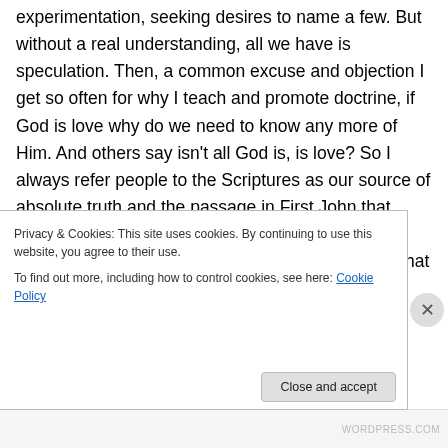experimentation, seeking desires to name a few. But without a real understanding, all we have is speculation. Then, a common excuse and objection I get so often for why I teach and promote doctrine, if God is love why do we need to know any more of Him. And others say isn't all God is, is love? So I always refer people to the Scriptures as our source of absolute truth and the passage in First John that says, “God is love”. First it says God is of love (1 John 4:7-16), a love that comes from God. A love that goes beyond human love and understanding and proved
Privacy & Cookies: This site uses cookies. By continuing to use this website, you agree to their use.
To find out more, including how to control cookies, see here: Cookie Policy
Close and accept